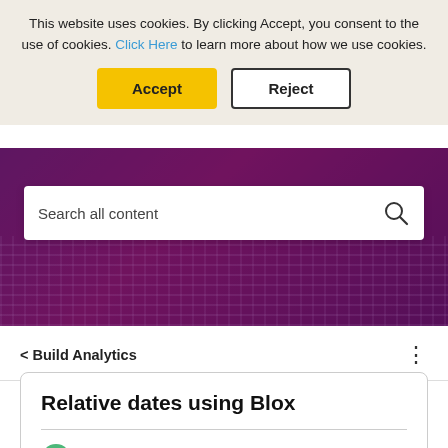This website uses cookies. By clicking Accept, you consent to the use of cookies. Click Here to learn more about how we use cookies.
Accept
Reject
[Figure (screenshot): Purple banner with keyboard background image and a white search bar with placeholder text 'Search all content' and a magnifying glass icon]
Search all content
< Build Analytics
Relative dates using Blox